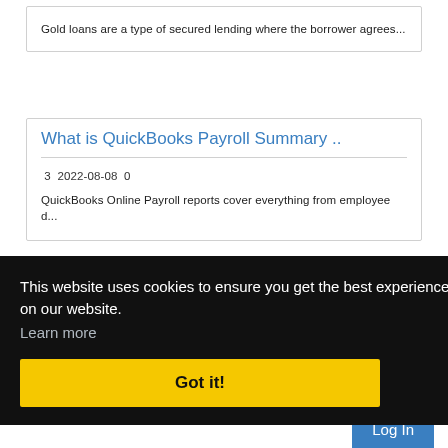Gold loans are a type of secured lending where the borrower agrees...
What is QuickBooks Payroll Summary ..
3  2022-08-08  0
QuickBooks Online Payroll reports cover everything from employee d...
Login
This website uses cookies to ensure you get the best experience on our website.
Learn more
Got it!
Log In